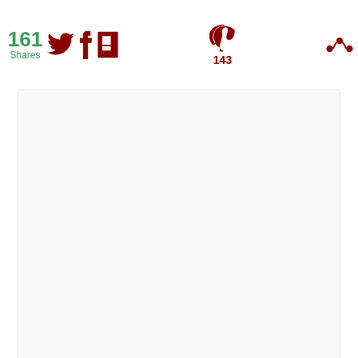161 Shares | Social share icons: Twitter, Facebook, Flipboard, Pinterest (143), More
[Figure (photo): White/light gray advertisement placeholder area]
[Figure (photo): Floating heart favorite button (teal circle with heart icon)]
[Figure (photo): Floating share button (white circle with share icon)]
[Figure (photo): WHAT'S NEXT panel with Lemon Dill Salmon thumbnail and title]
[Figure (photo): Raw salmon fillets on a surface, orange-pink color]
[Figure (photo): Green banner advertisement: cookies for kid's cancer - your HOBBY is their HOPE, with a heart-shaped cookie]